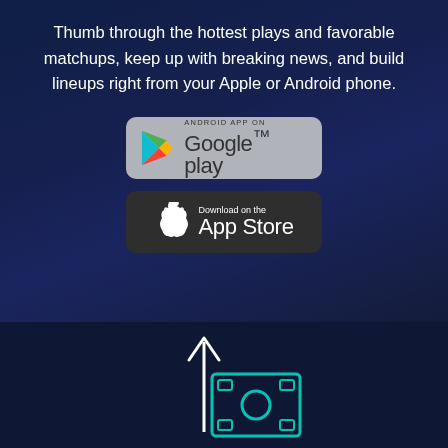Thumb through the hottest plays and favorable matchups, keep up with breaking news, and build lineups right from your Apple or Android phone.
[Figure (illustration): Google Play store badge on grey rounded rectangle background with Play triangle logo and text 'ANDROID APP ON Google play']
[Figure (illustration): Apple App Store badge on dark grey rounded rectangle background with Apple logo and text 'Download on the App Store']
[Figure (illustration): Scroll-to-top button (dark grey circle with upward chevron) in the lower right area]
[Figure (illustration): Icon of money/cash (bill with circle in center, teal/cyan outline) with an upward arrow above it, on dark navy background]